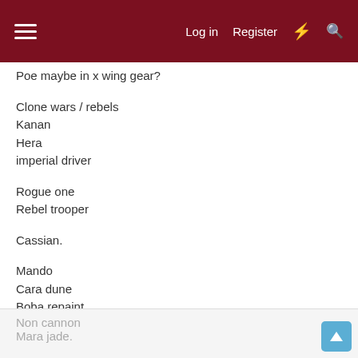Log in  Register
Poe maybe in x wing gear?
Clone wars / rebels
Kanan
Hera
imperial driver
Rogue one
Rebel trooper
Cassian.
Mando
Cara dune
Boba repaint
Imperial officer
Non cannon
Mara jade.